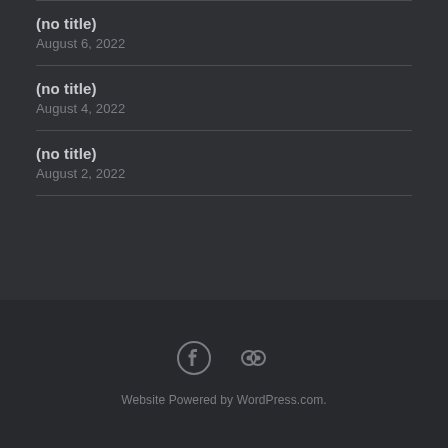(no title)
August 6, 2022
(no title)
August 4, 2022
(no title)
August 2, 2022
[Figure (other): Footer social icons: Facebook icon and a link/chain icon]
Website Powered by WordPress.com.